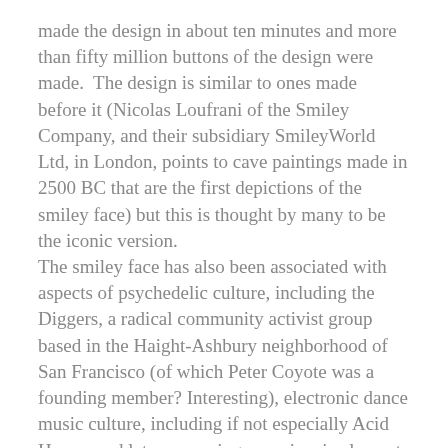made the design in about ten minutes and more than fifty million buttons of the design were made.  The design is similar to ones made before it (Nicolas Loufrani of the Smiley Company, and their subsidiary SmileyWorld Ltd, in London, points to cave paintings made in 2500 BC that are the first depictions of the smiley face) but this is thought by many to be the iconic version.
The smiley face has also been associated with aspects of psychedelic culture, including the Diggers, a radical community activist group based in the Haight-Ashbury neighborhood of San Francisco (of which Peter Coyote was a founding member? Interesting), electronic dance music culture, including if not especially Acid House, and later appearing as an iconic element in Dave Gibbons & Alan Moore's 'Watchmen.'
The less said about Wal-Mart the better, though it may be of interest that they had dealings with the smiley face, and have settled with Smiley Company in front of the